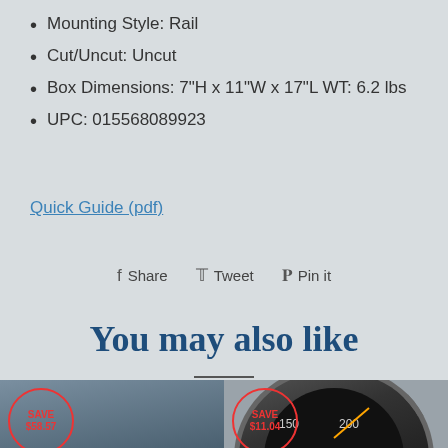Mounting Style: Rail
Cut/Uncut: Uncut
Box Dimensions: 7"H x 11"W x 17"L WT: 6.2 lbs
UPC: 015568089923
Quick Guide (pdf)
Share   Tweet   Pin it
You may also like
[Figure (photo): Product card left: bag with SAVE $58.57 badge]
[Figure (photo): Product card right: speedometer gauge with SAVE $11.04 badge]